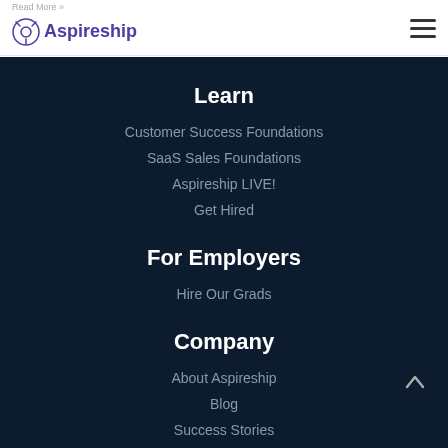Read More »
Aspireship
Learn
Customer Success Foundations
SaaS Sales Foundations
Aspireship LIVE!
Get Hired
For Employers
Hire Our Grads
Company
About Aspireship
Blog
Success Stories